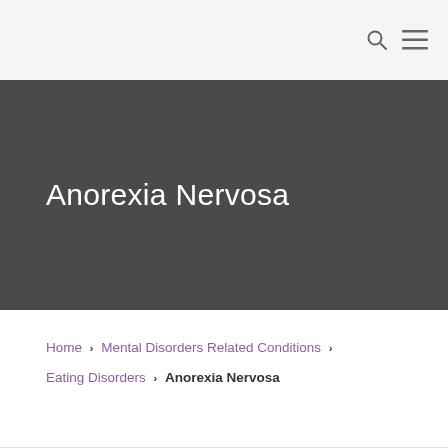Anorexia Nervosa
Home > Mental Disorders Related Conditions > Eating Disorders > Anorexia Nervosa